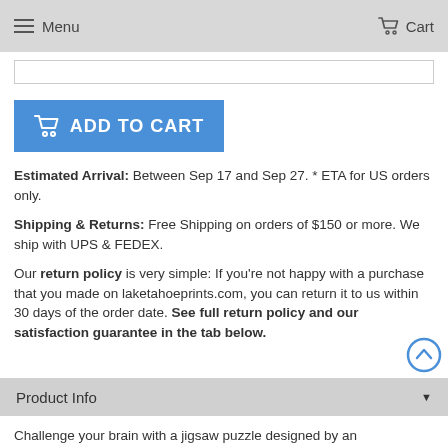Menu  Cart
[Figure (screenshot): White input box/text field area]
[Figure (other): Add to cart blue button with shopping cart icon]
Estimated Arrival: Between Sep 17 and Sep 27. * ETA for US orders only.
Shipping & Returns: Free Shipping on orders of $150 or more. We ship with UPS & FEDEX.
Our return policy is very simple: If you're not happy with a purchase that you made on laketahoeprints.com, you can return it to us within 30 days of the order date. See full return policy and our satisfaction guarantee in the tab below.
Product Info
Challenge your brain with a jigsaw puzzle designed by an